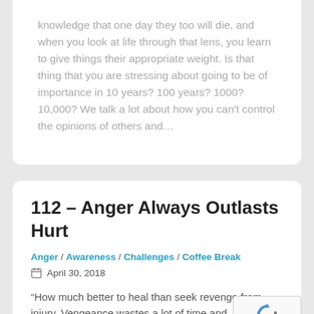knowledge that one day they too will die, and when you look at life through that lens, you learn to give things their appropriate weight. Is that thing that you are stressing about going to be of importance in 10 years? 100 years? 1000? 10,000? We talk a lot about how you can't control the opinions of others and…
112 – Anger Always Outlasts Hurt
Anger / Awareness / Challenges / Coffee Break
April 30, 2018
“How much better to heal than seek revenge from injury. Vengeance wastes a lot of time and